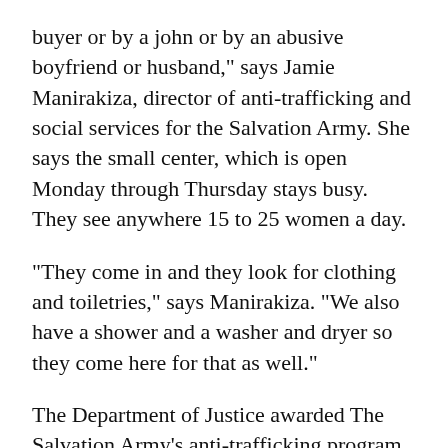buyer or by a john or by an abusive boyfriend or husband," says Jamie Manirakiza, director of anti-trafficking and social services for the Salvation Army. She says the small center, which is open Monday through Thursday stays busy. They see anywhere 15 to 25 women a day.
"They come in and they look for clothing and toiletries," says Manirakiza. "We also have a shower and a washer and dryer so they come here for that as well."
The Department of Justice awarded The Salvation Army's anti-trafficking program a $500,000 grant to expand the program.
"We see women trafficked all across the state," says Manirakiza. "We'll use this grant to expand...